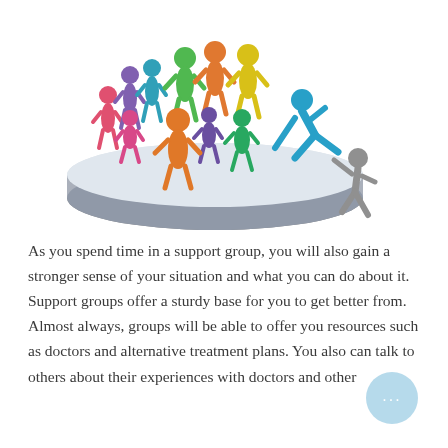[Figure (illustration): Colorful stick-figure people (red, pink, purple, teal, green, yellow, orange, blue) standing on a circular platform/pedestal. A blue figure reaches down to help a gray figure climb up onto the platform. The image represents a support group or community inclusion.]
As you spend time in a support group, you will also gain a stronger sense of your situation and what you can do about it. Support groups offer a sturdy base for you to get better from. Almost always, groups will be able to offer you resources such as doctors and alternative treatment plans. You also can talk to others about their experiences with doctors and other